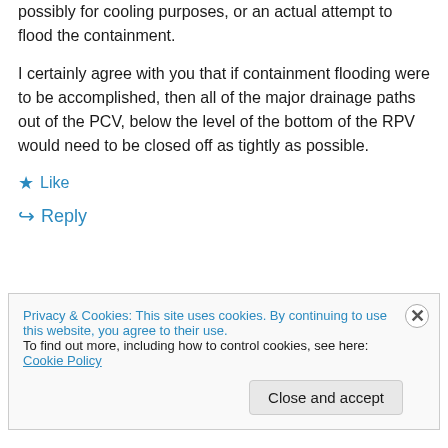possibly for cooling purposes, or an actual attempt to flood the containment.
I certainly agree with you that if containment flooding were to be accomplished, then all of the major drainage paths out of the PCV, below the level of the bottom of the RPV would need to be closed off as tightly as possible.
★ Like
↳ Reply
Privacy & Cookies: This site uses cookies. By continuing to use this website, you agree to their use.
To find out more, including how to control cookies, see here: Cookie Policy